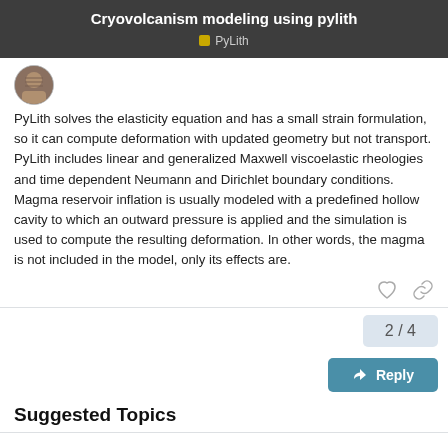Cryovolcanism modeling using pylith | PyLith
PyLith solves the elasticity equation and has a small strain formulation, so it can compute deformation with updated geometry but not transport. PyLith includes linear and generalized Maxwell viscoelastic rheologies and time dependent Neumann and Dirichlet boundary conditions. Magma reservoir inflation is usually modeled with a predefined hollow cavity to which an outward pressure is applied and the simulation is used to compute the resulting deformation. In other words, the magma is not included in the model, only its effects are.
2 / 4
Reply
Suggested Topics